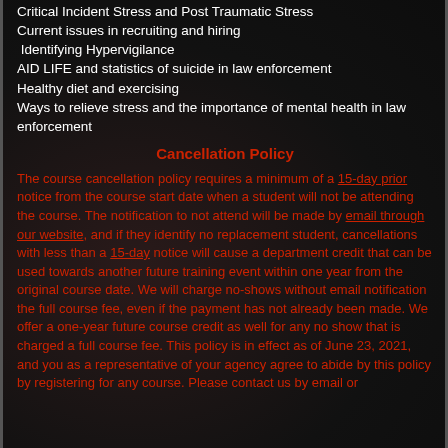Critical Incident Stress and Post Traumatic Stress
Current issues in recruiting and hiring
Identifying Hypervigilance
AID LIFE and statistics of suicide in law enforcement
Healthy diet and exercising
Ways to relieve stress and the importance of mental health in law enforcement
Cancellation Policy
The course cancellation policy requires a minimum of a 15-day prior notice from the course start date when a student will not be attending the course. The notification to not attend will be made by email through our website, and if they identify no replacement student, cancellations with less than a 15-day notice will cause a department credit that can be used towards another future training event within one year from the original course date. We will charge no-shows without email notification the full course fee, even if the payment has not already been made. We offer a one-year future course credit as well for any no show that is charged a full course fee. This policy is in effect as of June 23, 2021, and you as a representative of your agency agree to abide by this policy by registering for any course. Please contact us by email or